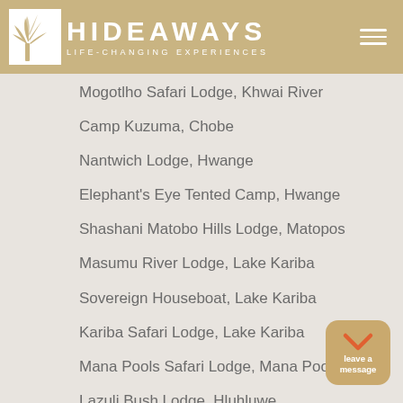HIDEAWAYS LIFE-CHANGING EXPERIENCES
Mogotlho Safari Lodge, Khwai River
Camp Kuzuma, Chobe
Nantwich Lodge, Hwange
Elephant's Eye Tented Camp, Hwange
Shashani Matobo Hills Lodge, Matopos
Masumu River Lodge, Lake Kariba
Sovereign Houseboat, Lake Kariba
Kariba Safari Lodge, Lake Kariba
Mana Pools Safari Lodge, Mana Pools
Lazuli Bush Lodge, Hluhluwe
[Figure (illustration): Leave a message button with orange checkmark icon]